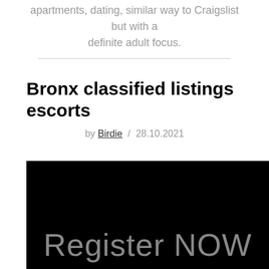apartments, dating, similar way to Craigslist but with a definite adult focus.
Bronx classified listings escorts
by Birdie / 28.10.2021
[Figure (screenshot): Black background image with large grey text reading 'Register NOW']